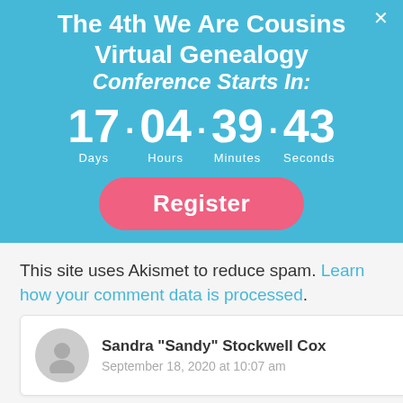The 4th We Are Cousins Virtual Genealogy Conference Starts In:
17 · 04 · 39 · 43
Days   Hours   Minutes   Seconds
Register
This site uses Akismet to reduce spam. Learn how your comment data is processed.
Sandra "Sandy" Stockwell Cox
September 18, 2020 at 10:07 am